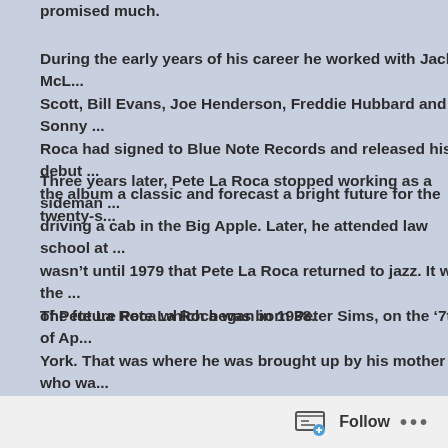promised much.
During the early years of his career he worked with Jackie McL... Scott, Bill Evans, Joe Henderson, Freddie Hubbard and Sonny ... Roca had signed to Blue Note Records and released his debut ... the album a classic and forecast a bright future for the twenty-s...
Three years later, Pete La Roca stopped working as a sideman ... driving a cab in the Big Apple. Later, he attended law school at ... wasn't until 1979 that Pete La Roca returned to jazz. It was the ... of Pete La Roca which began in 1938.
The future Pete La Roca was born Peter Sims, on the ‘7th’ of Ap... York. That was where he was brought up by his mother who wa... stepfather who played trumpet. However, it was Peter Sims’ un... shareholder in Circle Records and the manager of the rehearsa... Lafayette Theatre, in Harlem, who introduced him to music.
Peter Sims started to play percussion in public school, and the...
Follow ...